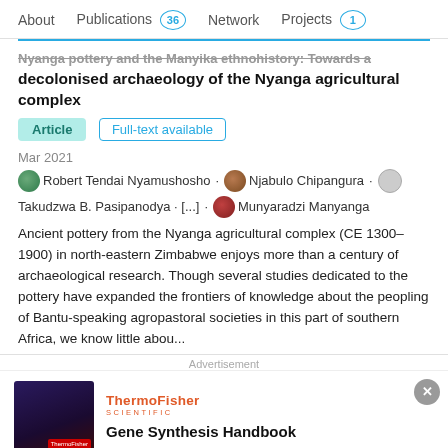About  Publications 36  Network  Projects 1
Nyanga pottery and the Manyika ethnohistory: Towards a decolonised archaeology of the Nyanga agricultural complex
Article
Full-text available
Mar 2021
Robert Tendai Nyamushosho · Njabulo Chipangura · Takudzwa B. Pasipanodya · [...] · Munyaradzi Manyanga
Ancient pottery from the Nyanga agricultural complex (CE 1300–1900) in north-eastern Zimbabwe enjoys more than a century of archaeological research. Though several studies dedicated to the pottery have expanded the frontiers of knowledge about the peopling of Bantu-speaking agropastoral societies in this part of southern Africa, we know little abou...
Advertisement
[Figure (other): ThermoFisher Scientific advertisement banner with Gene Synthesis Handbook text and a dark purple/blue themed image on the left]